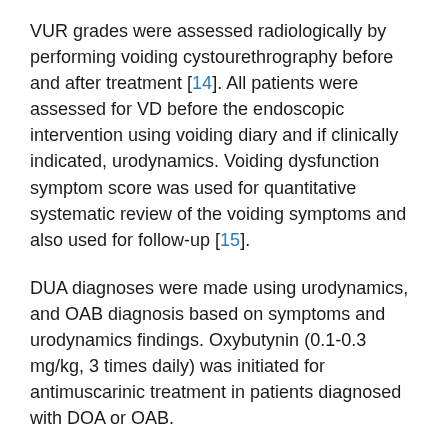VUR grades were assessed radiologically by performing voiding cystourethrography before and after treatment [14]. All patients were assessed for VD before the endoscopic intervention using voiding diary and if clinically indicated, urodynamics. Voiding dysfunction symptom score was used for quantitative systematic review of the voiding symptoms and also used for follow-up [15].
DUA diagnoses were made using urodynamics, and OAB diagnosis based on symptoms and urodynamics findings. Oxybutynin (0.1-0.3 mg/kg, 3 times daily) was initiated for antimuscarinic treatment in patients diagnosed with DOA or OAB.
Post-void residual urine was evaluated according to age-based criteria of International Children's Continence Society and clean intermittent